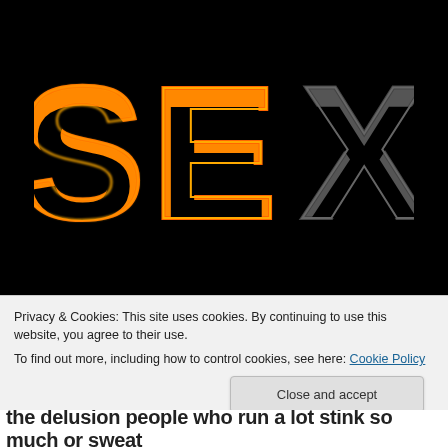[Figure (illustration): Black background with large stylized letters S, E, X. S and E are rendered in orange/amber neon glow style with bold outlined block letters. X is rendered in dark gray with similar bold outlined block letter style.]
Privacy & Cookies: This site uses cookies. By continuing to use this website, you agree to their use.
To find out more, including how to control cookies, see here: Cookie Policy
Close and accept
the delusion people who run a lot stink so much or sweat